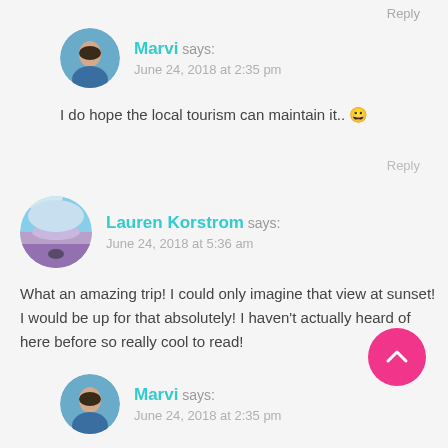Reply
Marvi says:
June 24, 2018 at 2:35 pm
I do hope the local tourism can maintain it.. 😀
Reply
Lauren Korstrom says:
June 24, 2018 at 5:36 am
What an amazing trip! I could only imagine that view at sunset! I would be up for that absolutely! I haven't actually heard of here before so really cool to read!
[Figure (illustration): Pink circular scroll-to-top button with upward chevron arrow]
Marvi says:
June 24, 2018 at 2:35 pm